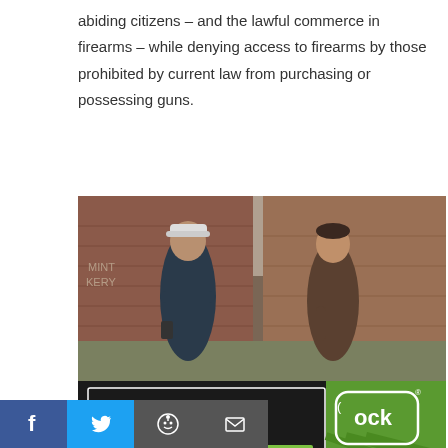abiding citizens — and the lawful commerce in firearms — while denying access to firearms by those prohibited by current law from purchasing or possessing guns.
[Figure (photo): Advertisement for Glock showing two men talking outdoors near a brick building. One man wears a cap and has arms crossed with a holstered firearm visible. The lower portion of the ad has a dark background with green text reading 'FOR SPORT. FOR FUN. FOR EVERYONE.' and a 'LEARN MORE' button. The right side shows the Glock logo with 'PERFECTION' text on a green background.]
[Figure (infographic): Social media sharing bar with Facebook (blue), Twitter (light blue), Reddit (dark grey), and email (dark grey) icons.]